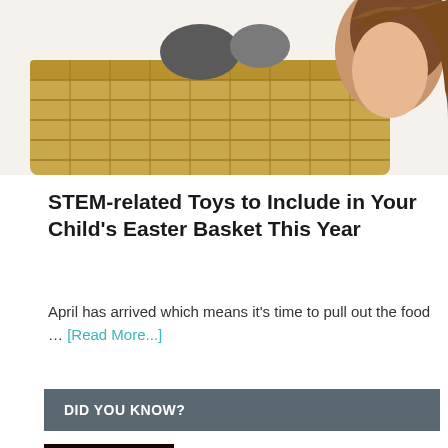[Figure (photo): Photo of a young girl with brown hair looking into a wicker Easter basket, white background]
STEM-related Toys to Include in Your Child's Easter Basket This Year
April has arrived which means it's time to pull out the food … [Read More...]
DID YOU KNOW?
[Figure (photo): Photo of raw round steaks on a dark surface]
Quick Ways to Cook a Round Steak